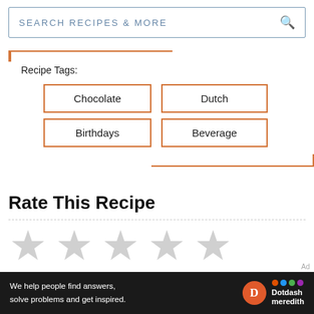SEARCH RECIPES & MORE
Recipe Tags:
Chocolate
Dutch
Birthdays
Beverage
Rate This Recipe
[Figure (other): Five empty/unfilled star rating icons in light gray]
Ad
We help people find answers, solve problems and get inspired.
[Figure (logo): Dotdash Meredith logo with orange D circle and colored dot pattern]